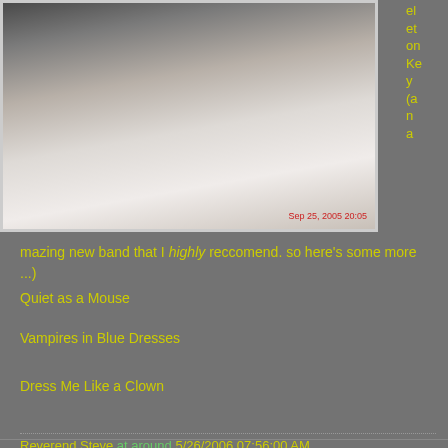[Figure (photo): Close-up photo of what appears to be a person, with timestamp 'Sep 25, 2005 20:05' in red at bottom right]
el et on Ke y (a n a
mazing new band that I highly reccomend. so here's some more ...)
Quiet as a Mouse
Vampires in Blue Dresses
Dress Me Like a Clown
Reverend Steve at around 5/26/2006 07:56:00 AM
No comments:
Share